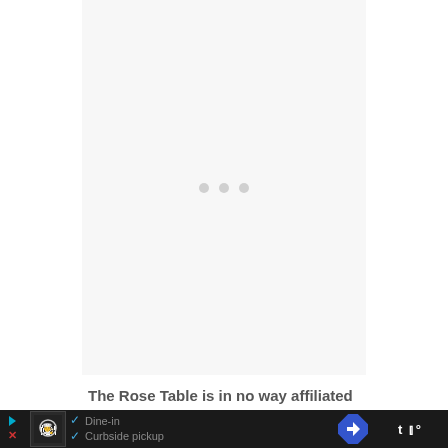[Figure (other): Loading placeholder area with light gray background and three small gray dots in the center]
The Rose Table is in no way affiliated with The Walt Disney Company.
[Figure (other): Advertisement bar showing a restaurant ad with Dine-in and Curbside pickup options, navigation arrow icon, and right-side logo]